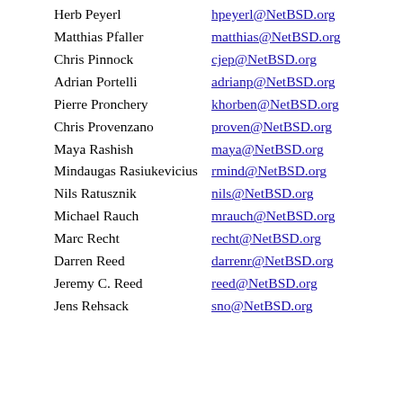| Name | Email |
| --- | --- |
| Herb Peyerl | hpeyerl@NetBSD.org |
| Matthias Pfaller | matthias@NetBSD.org |
| Chris Pinnock | cjep@NetBSD.org |
| Adrian Portelli | adrianp@NetBSD.org |
| Pierre Pronchery | khorben@NetBSD.org |
| Chris Provenzano | proven@NetBSD.org |
| Maya Rashish | maya@NetBSD.org |
| Mindaugas Rasiukevicius | rmind@NetBSD.org |
| Nils Ratusznik | nils@NetBSD.org |
| Michael Rauch | mrauch@NetBSD.org |
| Marc Recht | recht@NetBSD.org |
| Darren Reed | darrenr@NetBSD.org |
| Jeremy C. Reed | reed@NetBSD.org |
| Jens Rehsack | sno@NetBSD.org |